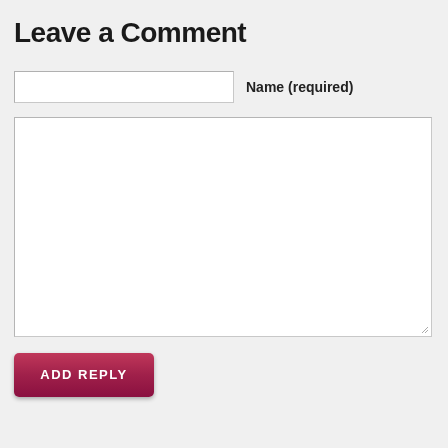Leave a Comment
Name (required)
[Figure (other): Large empty comment text area input box]
ADD REPLY